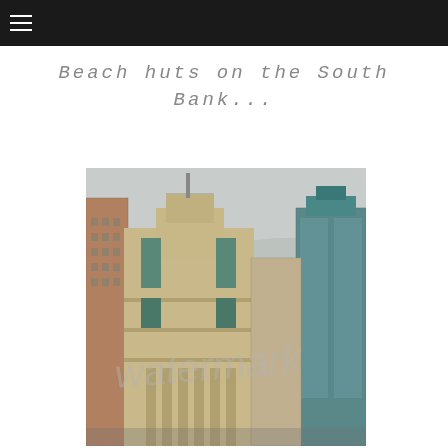≡
Beach huts on the South Bank...
[Figure (photo): Urban skyline photograph showing large buildings on the South Bank of London, including a distinctive Art Deco-style building (MI6 / SIS Building) and modern glass towers. The sky is overcast and grey. A watermark is partially visible across the lower portion of the image.]